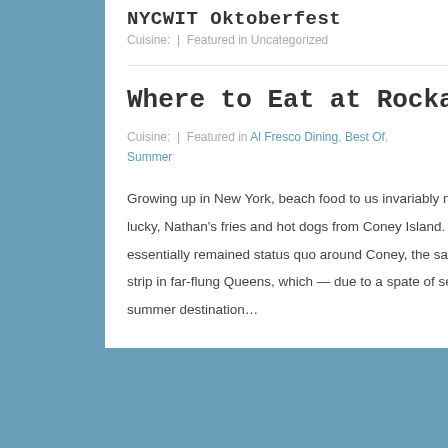NYCWIT Oktoberfest
Cuisine:  |  Featured in Uncategorized
Where to Eat at Rockaway Beach
Cuisine:  |  Featured in Al Fresco Dining, Best Of, Summer
Growing up in New York, beach food to us invariably meant foil-wrapped sandwiches lugged in coolers, or if we were lucky, Nathan's fries and hot dogs from Coney Island. That was about it. And while waterside dining options have essentially remained status quo around Coney, the same certainly can't be said of Rockaway Beach, a once sleepy strip in far-flung Queens, which — due to a spate of seriously cut above concessions — has quickly become a top summer destination…